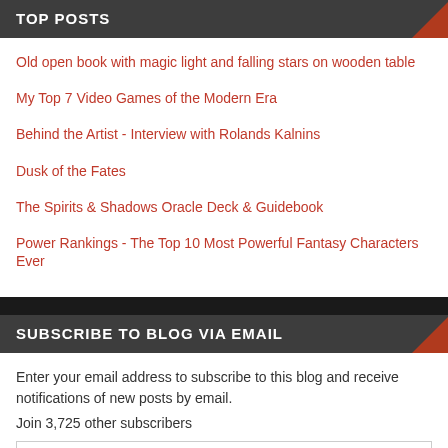TOP POSTS
Old open book with magic light and falling stars on wooden table
My Top 7 Video Games of the Modern Era
Behind the Artist - Interview with Rolands Kalnins
Dusk of the Fates
The Spirits & Shadows Oracle Deck & Guidebook
Power Rankings - The Top 10 Most Powerful Fantasy Characters Ever
SUBSCRIBE TO BLOG VIA EMAIL
Enter your email address to subscribe to this blog and receive notifications of new posts by email.
Join 3,725 other subscribers